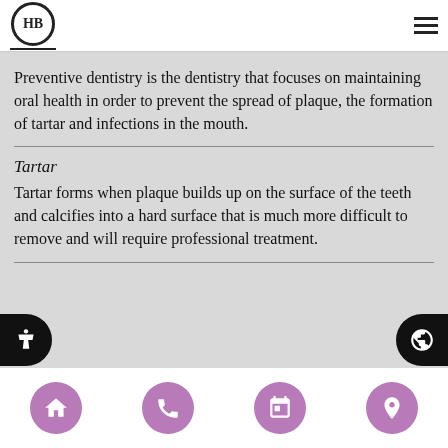HB logo and hamburger menu
Preventive dentistry is the dentistry that focuses on maintaining oral health in order to prevent the spread of plaque, the formation of tartar and infections in the mouth.
Tartar
Tartar forms when plaque builds up on the surface of the teeth and calcifies into a hard surface that is much more difficult to remove and will require professional treatment.
Navigation bar with home, phone, calendar, location buttons